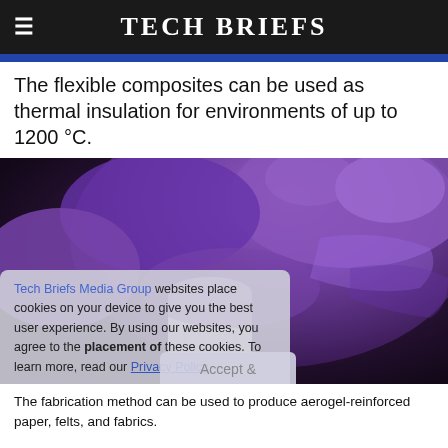Tech Briefs
The flexible composites can be used as thermal insulation for environments of up to 1200 °C.
[Figure (photo): A purple-gloved hand holding a white cylindrical aerogel composite material against a dark background. A semi-transparent cookie consent overlay appears on the lower left portion of the image.]
The fabrication method can be used to produce aerogel-reinforced paper, felts, and fabrics.